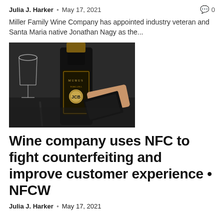Julia J. Harker • May 17, 2021   🗨 0
Miller Family Wine Company has appointed industry veteran and Santa Maria native Jonathan Nagy as the...
[Figure (photo): A hand holding a black card next to a dark wine bottle with a gold JCB label, with wine glasses visible in the background on a dark surface.]
Wine company uses NFC to fight counterfeiting and improve customer experience • NFCW
Julia J. Harker • May 17, 2021